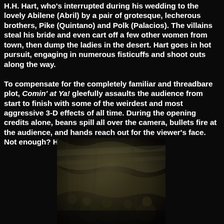H.H. Hart, who's interrupted during his wedding to the lovely Abilene (Abril) by a pair of grotesque, lecherous brothers, Pike (Quintano) and Polk (Palacios). The villains steal his bride and even cart off a few other women from town, then dump the ladies in the desert. Hart goes in hot pursuit, engaging in numerous fisticuffs and shoot outs along the way.

To compensate for the completely familiar and threadbare plot, Comin' at Ya! gleefully assaults the audience from start to finish with some of the weirdest and most aggressive 3-D effects of all time. During the opening credits alone, beans spill all over the camera, bullets fire at the audience, and hands reach out for the viewer's face. Not enough? How about guys falling
[Figure (photo): A dark movie still showing several people huddled together under what appears to be fabric or canvas, illuminated dimly in a dark setting]